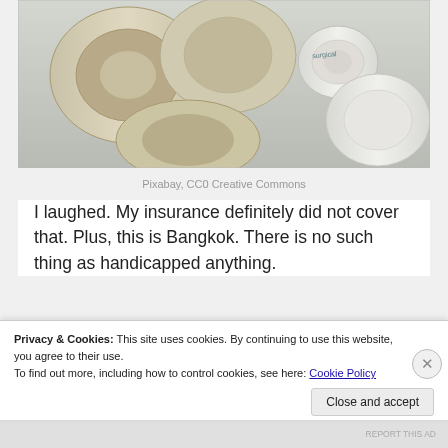[Figure (photo): Rolls of medical/surgical tape on a light blue-gray background]
Pixabay, CC0 Creative Commons
I laughed. My insurance definitely did not cover that. Plus, this is Bangkok. There is no such thing as handicapped anything.
[Figure (screenshot): Dark advertisement banner with a teal 'Learn More' button]
Privacy & Cookies: This site uses cookies. By continuing to use this website, you agree to their use.
To find out more, including how to control cookies, see here: Cookie Policy
Close and accept